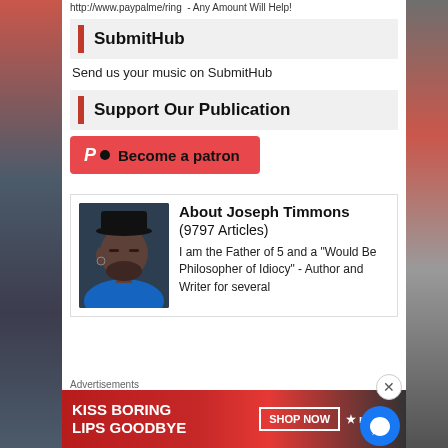http://www.paypalmering - Any Amount Will Help!
SubmitHub
Send us your music on SubmitHub
Support Our Publication
Become a patron
About Joseph Timmons (9797 Articles) I am the Father of 5 and a "Would Be Philosopher of Idiocy" - Author and Writer for several Blogs and Online Magazines. Poet, broadcaster, and...
Advertisements
[Figure (photo): Macy's advertisement banner: KISS BORING LIPS GOODBYE with SHOP NOW button and Macy's logo]